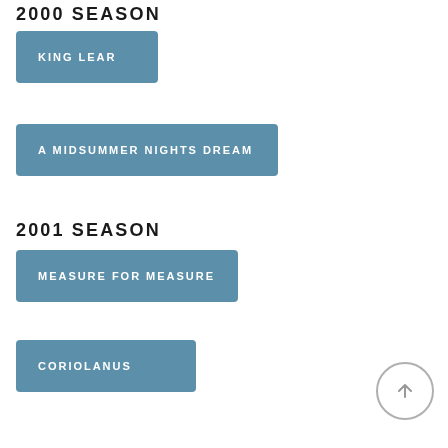2000 SEASON
KING LEAR
A MIDSUMMER NIGHTS DREAM
2001 SEASON
MEASURE FOR MEASURE
CORIOLANUS
[Figure (illustration): A circular scroll-to-top button with an upward arrow icon]